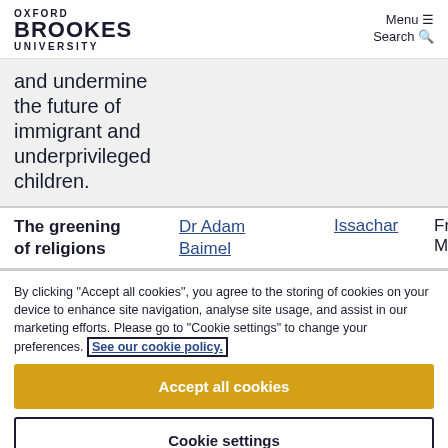OXFORD BROOKES UNIVERSITY | Menu ≡ | Search 🔍
and undermine the future of immigrant and underprivileged children.
| Title | Author | Publisher | Date |
| --- | --- | --- | --- |
| The greening of religions | Dr Adam Baimel | Issachar | From: March |
By clicking "Accept all cookies", you agree to the storing of cookies on your device to enhance site navigation, analyse site usage, and assist in our marketing efforts. Please go to "Cookie settings" to change your preferences. See our cookie policy.
Accept all cookies
Cookie settings